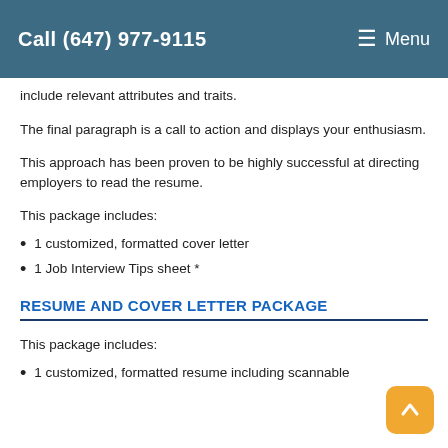Call (647) 977-9115   ≡ Menu
include relevant attributes and traits.
The final paragraph is a call to action and displays your enthusiasm.
This approach has been proven to be highly successful at directing employers to read the resume.
This package includes:
1 customized, formatted cover letter
1 Job Interview Tips sheet *
RESUME AND COVER LETTER PACKAGE
This package includes:
1 customized, formatted resume including scannable